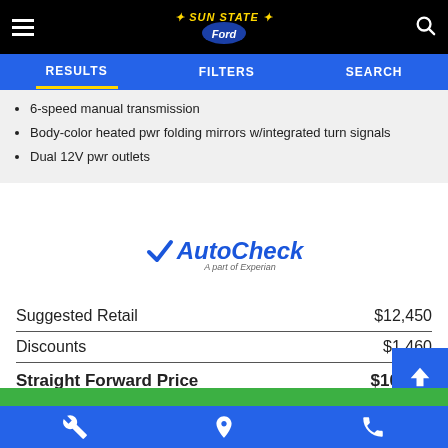Sun State Ford — Results | Filters | Search
6-speed manual transmission
Body-color heated pwr folding mirrors w/integrated turn signals
Dual 12V pwr outlets
[Figure (logo): AutoCheck - A part of Experian logo]
|  |  |
| --- | --- |
| Suggested Retail | $12,450 |
| Discounts | $1,460 |
| Straight Forward Price | $10,990 |
CALCULATE PAYMENT
Service | Location | Phone